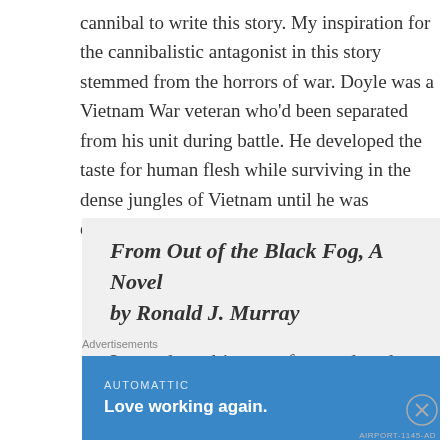cannibal to write this story. My inspiration for the cannibalistic antagonist in this story stemmed from the horrors of war. Doyle was a Vietnam War veteran who'd been separated from his unit during battle. He developed the taste for human flesh while surviving in the dense jungles of Vietnam until he was eventually rescued.
From Out of the Black Fog, A Novel by Ronald J. Murray
Lorne kept his eyes forward and
Advertisements
[Figure (other): Advertisement banner for Automattic with blue background. Text reads 'AUTOMATTIC' and 'Love working again.' with a close button (X) on the right.]